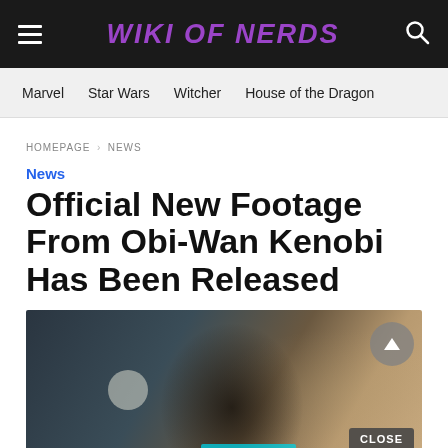WIKI OF NERDS
Marvel | Star Wars | Witcher | House of the Dragon
HOMEPAGE › NEWS
News
Official New Footage From Obi-Wan Kenobi Has Been Released
[Figure (photo): A dark cinematic still showing a person's face in dramatic low-key lighting, with a glowing orb/moon visible, cyan light bar, CLOSE button overlay, and scroll-to-top arrow button.]